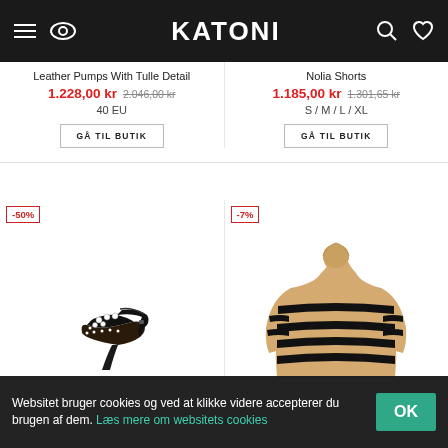[Figure (screenshot): Katoni e-commerce website navigation bar with hamburger menu, eye icon, KATONI logo, search icon, and heart/wishlist icon on dark background]
Leather Pumps With Tulle Detail
1.228,00 kr  2.046,00 kr
40 EU
GÅ TIL BUTIK
Nolia Shorts
1.185,00 kr  1.301,65 kr
S / M / L / XL
GÅ TIL BUTIK
[Figure (photo): Black high-heel sandal with pearl/stud embellishments and ankle strap on white background, -50% discount badge]
[Figure (photo): Beige/tan striped turtleneck sweater with black horizontal stripes on white background, -7% discount badge]
Websitet bruger cookies og ved at klikke videre accepterer du brugen af dem. Læs mere om websitets cookies